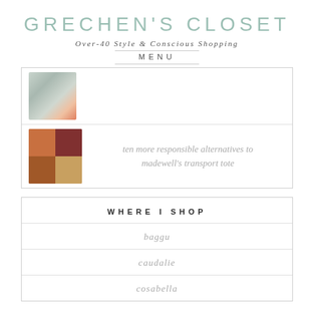GRECHEN'S CLOSET
Over-40 Style & Conscious Shopping
MENU
[Figure (photo): Thumbnail image of assorted items including small bags and accessories]
[Figure (photo): Four brown leather tote bags arranged in a 2x2 grid]
ten more responsible alternatives to madewell's transport tote
WHERE I SHOP
baggu
caudalie
cosabella